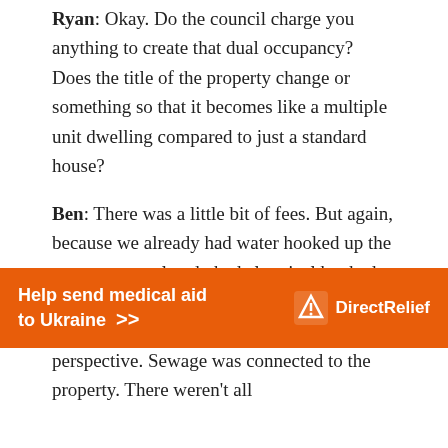Ryan: Okay. Do the council charge you anything to create that dual occupancy? Does the title of the property change or something so that it becomes like a multiple unit dwelling compared to just a standard house?
Ben: There was a little bit of fees. But again, because we already had water hooked up the property; we already had electrical hooked up to the property because this guy had done all the hard work for us from that perspective. Sewage was connected to the property. There weren't all
[Figure (other): Orange advertisement banner reading 'Help send medical aid to Ukraine >>' with Direct Relief logo on the right]